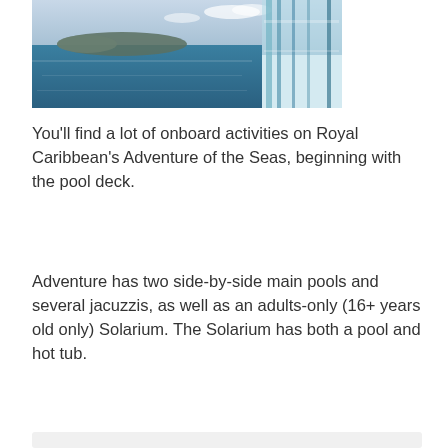[Figure (photo): A cruise ship deck railing viewed from above, with calm blue ocean water and a distant island or landmass on the horizon under a partly cloudy sky.]
You'll find a lot of onboard activities on Royal Caribbean's Adventure of the Seas, beginning with the pool deck.
Adventure has two side-by-side main pools and several jacuzzis, as well as an adults-only (16+ years old only) Solarium. The Solarium has both a pool and hot tub.